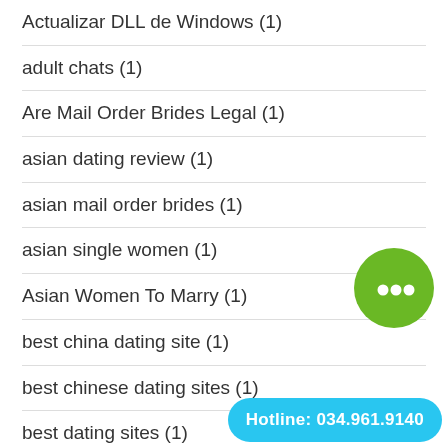Actualizar DLL de Windows (1)
adult chats (1)
Are Mail Order Brides Legal (1)
asian dating review (1)
asian mail order brides (1)
asian single women (1)
Asian Women To Marry (1)
best china dating site (1)
best chinese dating sites (1)
best dating sites (1)
Best Dating Website (1)
best free dating site for serious r…
[Figure (illustration): Green circular chat icon with white speech bubble]
Hotline: 034.961.9140